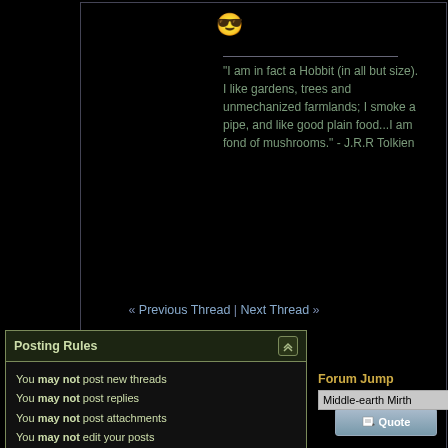[Figure (other): Smiley face emoji icon (sunglasses face)]
“I am in fact a Hobbit (in all but size). I like gardens, trees and unmechanized farmlands; I smoke a pipe, and like good plain food...I am fond of mushrooms.” - J.R.R Tolkien
[Figure (other): Blue globe/sphere icon]
[Figure (other): Quote button with pencil icon]
[Figure (other): Post Reply button with pencil icon]
« Previous Thread | Next Thread »
Posting Rules
You may not post new threads
You may not post replies
You may not post attachments
You may not edit your posts
BB code is On
Smilies are On
[IMG] code is On
HTML code is Off
Forum Rules
Forum Jump
Middle-earth Mirth